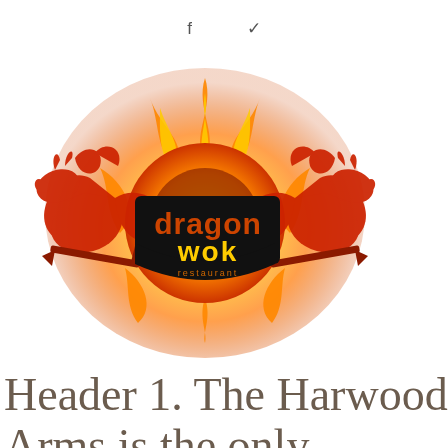f  ✓
[Figure (logo): Dragon Wok restaurant logo featuring two red dragons flanking a central fireball/sun motif with a dark banner reading 'dragon wok restaurant' in orange and yellow text]
Header 1. The Harwood Arms is the only